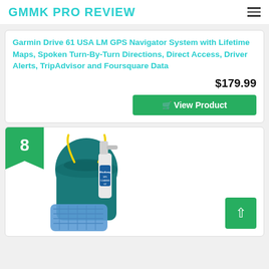GMMK PRO REVIEW
Garmin Drive 61 USA LM GPS Navigator System with Lifetime Maps, Spoken Turn-By-Turn Directions, Direct Access, Driver Alerts, TripAdvisor and Foursquare Data
$179.99
View Product
[Figure (photo): Number 8 badge in green with a product image of a WaveAway GPS cleaning kit including a spray bottle, microfiber cloth, and teal drawstring bag]
8